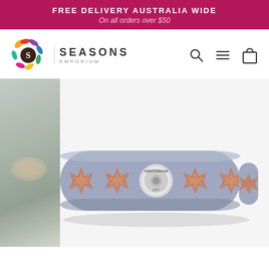FREE DELIVERY AUSTRALIA WIDE
On all orders over $50
[Figure (logo): Seasons Emporium logo with colorful floral/leaf motif and the letter S, alongside text SEASONS EMPORIUM]
[Figure (photo): Product photo of a grey/lavender leather bracelet with rose gold cross/fleur-de-lis embroidery pattern and a silver Amsterdam snap button closure, shown close-up against a light background with a partial blurred image on the left side]